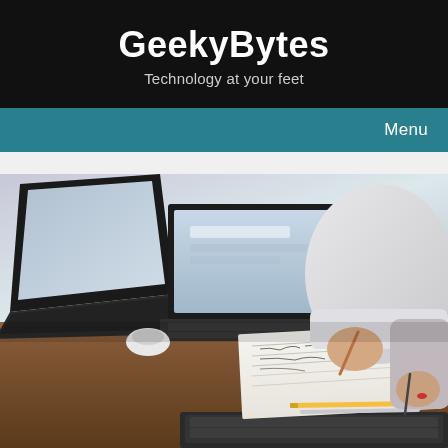GeekyBytes
Technology at your feet
Menu
[Figure (photo): Two people working at a desk with laptops open, one person writing on paper with a pencil, another person holding a pen, notebooks and pencils on a wooden desk surface]